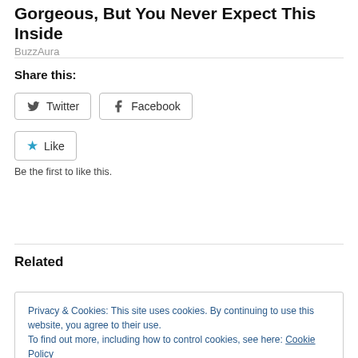Gorgeous, But You Never Expect This Inside
BuzzAura
Share this:
Twitter  Facebook
Like
Be the first to like this.
Related
Privacy & Cookies: This site uses cookies. By continuing to use this website, you agree to their use.
To find out more, including how to control cookies, see here: Cookie Policy
Close and accept